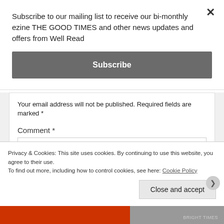Subscribe to our mailing list to receive our bi-monthly ezine THE GOOD TIMES and other news updates and offers from Well Read
Subscribe
Your email address will not be published. Required fields are marked *
Comment *
Privacy & Cookies: This site uses cookies. By continuing to use this website, you agree to their use.
To find out more, including how to control cookies, see here: Cookie Policy
Close and accept